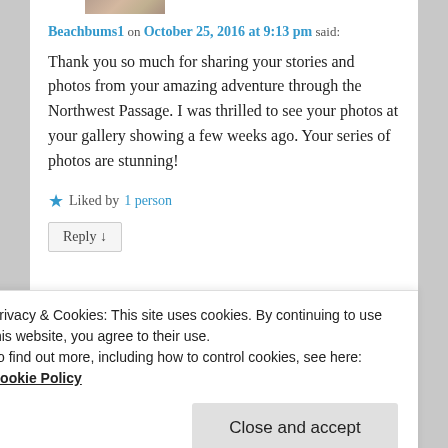Beachbums1 on October 25, 2016 at 9:13 pm said:
Thank you so much for sharing your stories and photos from your amazing adventure through the Northwest Passage. I was thrilled to see your photos at your gallery showing a few weeks ago. Your series of photos are stunning!
Liked by 1 person
Reply ↓
Robin S. Kent on October 26, 2016 at 1:46 pm
Privacy & Cookies: This site uses cookies. By continuing to use this website, you agree to their use.
To find out more, including how to control cookies, see here: Cookie Policy
Close and accept
Liked by 1 person